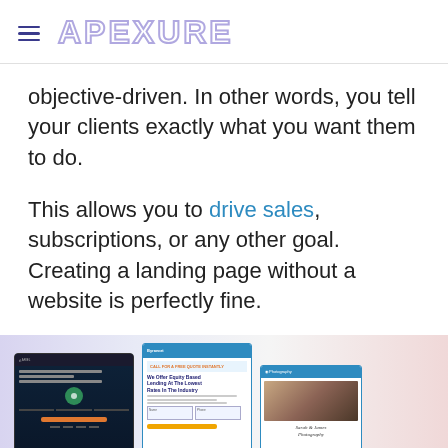APEXURE
objective-driven. In other words, you tell your clients exactly what you want them to do.
This allows you to drive sales, subscriptions, or any other goal. Creating a landing page without a website is perfectly fine.
[Figure (screenshot): A composite image showing three website/landing page screenshots on a soft gradient background (lavender to pink). Left screen shows a dark-themed trading/finance landing page. Middle screen shows a blue-branded financial services page. Right screen shows a wedding/portrait photography page.]